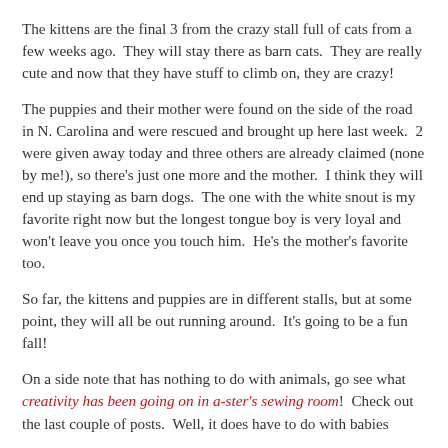The kittens are the final 3 from the crazy stall full of cats from a few weeks ago.  They will stay there as barn cats.  They are really cute and now that they have stuff to climb on, they are crazy!
The puppies and their mother were found on the side of the road in N. Carolina and were rescued and brought up here last week.  2 were given away today and three others are already claimed (none by me!), so there's just one more and the mother.  I think they will end up staying as barn dogs.  The one with the white snout is my favorite right now but the longest tongue boy is very loyal and won't leave you once you touch him.  He's the mother's favorite too.
So far, the kittens and puppies are in different stalls, but at some point, they will all be out running around.  It's going to be a fun fall!
On a side note that has nothing to do with animals, go see what creativity has been going on in a-ster's sewing room!  Check out the last couple of posts.  Well, it does have to do with babies because babysize and divine the first...  Our next...